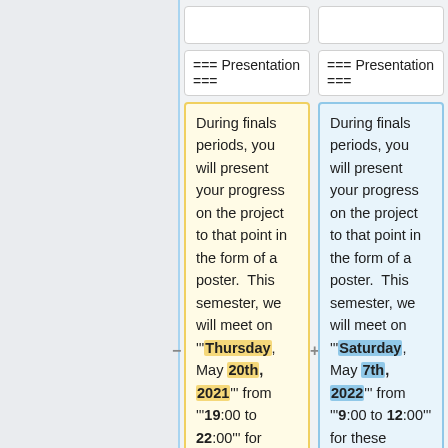=== Presentation ===
=== Presentation ===
During finals periods, you will present your progress on the project to that point in the form of a poster.  This semester, we will meet on '''Thursday, May 20th, 2021''' from '''19:00 to 22:00''' for these presentations.
During finals periods, you will present your progress on the project to that point in the form of a poster.  This semester, we will meet on '''Saturday, May 7th, 2022''' from '''9:00 to 12:00''' for these presentations.
Besides being
Besides being